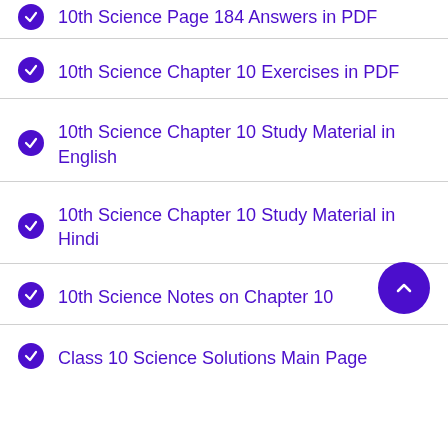10th Science Page 184 Answers in PDF
10th Science Chapter 10 Exercises in PDF
10th Science Chapter 10 Study Material in English
10th Science Chapter 10 Study Material in Hindi
10th Science Notes on Chapter 10
Class 10 Science Solutions Main Page